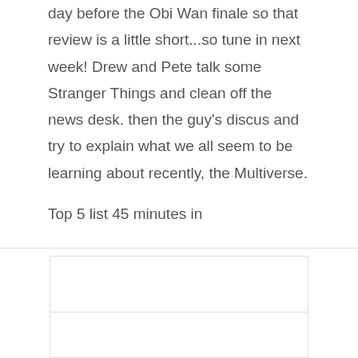day before the Obi Wan finale so that review is a little short...so tune in next week! Drew and Pete talk some Stranger Things and clean off the news desk. then the guy's discus and try to explain what we all seem to be learning about recently, the Multiverse.
Top 5 list 45 minutes in
Read More